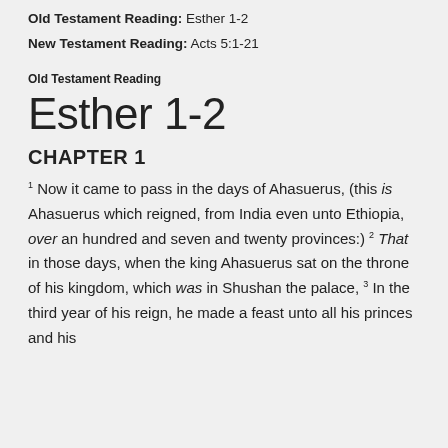Old Testament Reading: Esther 1-2
New Testament Reading: Acts 5:1-21
Old Testament Reading
Esther 1-2
CHAPTER 1
1 Now it came to pass in the days of Ahasuerus, (this is Ahasuerus which reigned, from India even unto Ethiopia, over an hundred and seven and twenty provinces:) 2 That in those days, when the king Ahasuerus sat on the throne of his kingdom, which was in Shushan the palace, 3 In the third year of his reign, he made a feast unto all his princes and his